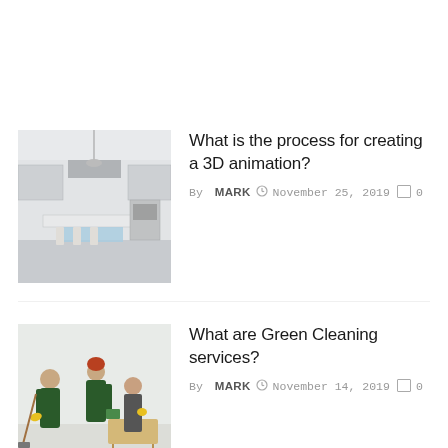[Figure (photo): Modern white kitchen interior with island, bar stools, and light blue cloth]
What is the process for creating a 3D animation?
By MARK  November 25, 2019  0
[Figure (photo): Three cleaning workers in green overalls and yellow gloves cleaning a room]
What are Green Cleaning services?
By MARK  November 14, 2019  0
[Figure (photo): Cyan/blue image representing Float Therapy]
Float Therapy